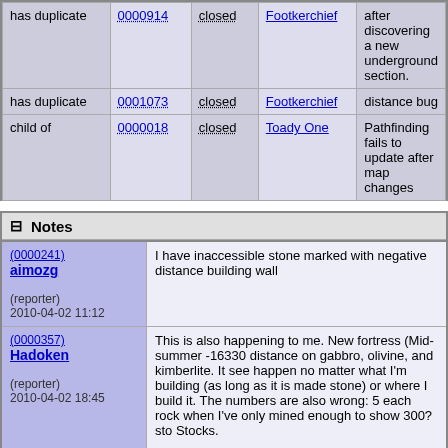| Relationship | Bug ID | Status | Reporter | Summary |
| --- | --- | --- | --- | --- |
| has duplicate | 0000914 | closed | Footkerchief | after discovering a new underground section. |
| has duplicate | 0001073 | closed | Footkerchief | distance bug |
| child of | 0000018 | closed | Toady One | Pathfinding fails to update after map changes |
Notes
| Author | Note |
| --- | --- |
| (0000241)
aimozg
(reporter)
2010-04-02 11:12 | I have inaccessible stone marked with negative distance building wall |
| (0000357)
Hadoken
(reporter)
2010-04-02 18:45 | This is also happening to me. New fortress (Mid-summer -16330 distance on gabbro, olivine, and kimberlite. It seem happen no matter what I'm building (as long as it is made stone) or where I build it. The numbers are also wrong: 5 each rock when I've only mined enough to show 300? sto Stocks.

Hitting 'x' to expand and trying to build with one of those stones yields "Could not find path". |
| (0000744) | I've managed to discover this bug. I think it's easy to re |